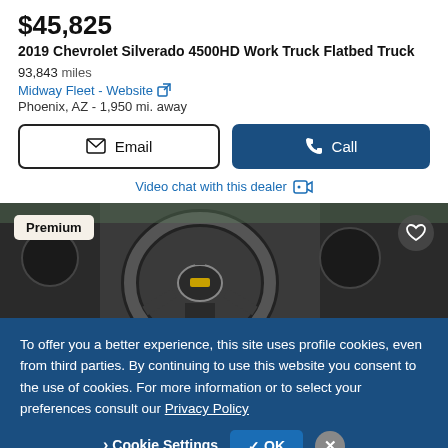$45,825
2019 Chevrolet Silverado 4500HD Work Truck Flatbed Truck
93,843 miles
Midway Fleet - Website
Phoenix, AZ - 1,950 mi. away
Email
Call
Video chat with this dealer
[Figure (photo): Interior view of 2019 Chevrolet Silverado showing steering wheel and dashboard. Premium badge in top left, heart icon in top right.]
To offer you a better experience, this site uses profile cookies, even from third parties. By continuing to use this website you consent to the use of cookies. For more information or to select your preferences consult our Privacy Policy
Cookie Settings
OK